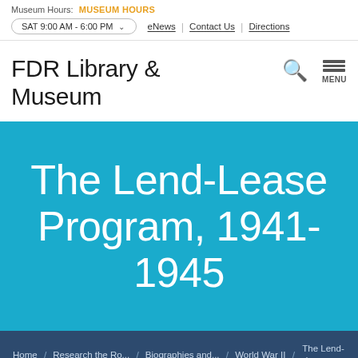Museum Hours: MUSEUM HOURS  SAT 9:00 AM - 6:00 PM  eNews | Contact Us | Directions
FDR Library & Museum
The Lend-Lease Program, 1941-1945
Home / Research the Ro... / Biographies and... / World War II / The Lend-Lease ...